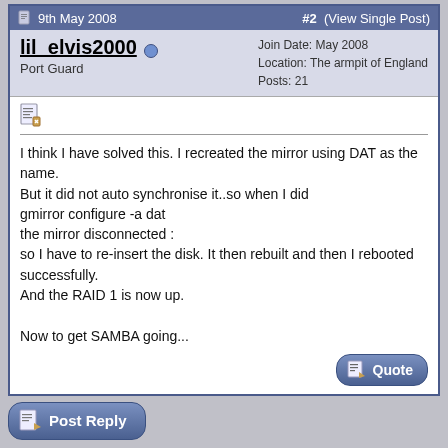9th May 2008  #2  (View Single Post)
lil_elvis2000  Port Guard  Join Date: May 2008  Location: The armpit of England  Posts: 21
I think I have solved this. I recreated the mirror using DAT as the name.
But it did not auto synchronise it..so when I did
gmirror configure -a dat
the mirror disconnected :
so I have to re-insert the disk. It then rebuilt and then I rebooted successfully.
And the RAID 1 is now up.

Now to get SAMBA going...
Post Reply
« Previous Thread | Next Thread »
Posting Rules
You may not post new threads
You may not post replies
You may not post attachments
You may not edit your posts